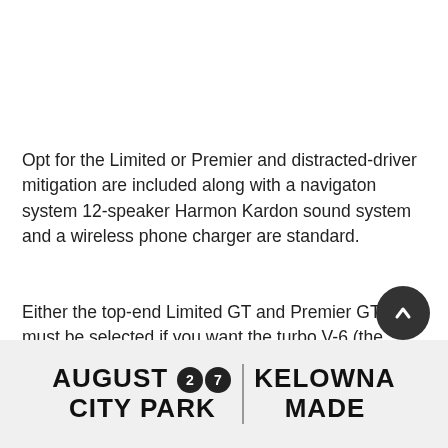Opt for the Limited or Premier and distracted-driver mitigation are included along with a navigaton system 12-speaker Harmon Kardon sound system and a wireless phone charger are standard.
Either the top-end Limited GT and Premier GT trims must be selected if you want the turbo V-6 (the same engine is used in the seven-passenger Ascent utility vehicle). It's
[Figure (other): Advertisement banner reading AUGUST 27 CITY PARK on the left and KELOWNA MADE on the right, with circular numbered badges]